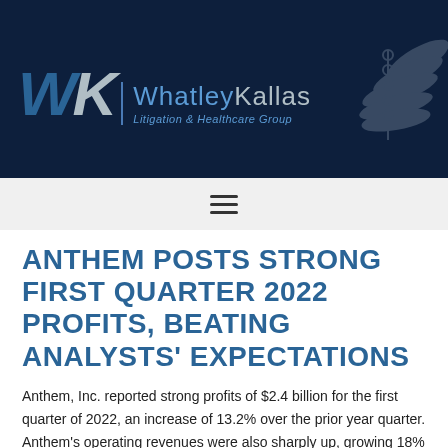[Figure (logo): Whatley Kallas Litigation & Healthcare Group logo on dark navy background with scales of justice graphic]
ANTHEM POSTS STRONG FIRST QUARTER 2022 PROFITS, BEATING ANALYSTS' EXPECTATIONS
Anthem, Inc. reported strong profits of $2.4 billion for the first quarter of 2022, an increase of 13.2% over the prior year quarter. Anthem's operating revenues were also sharply up, growing 18%